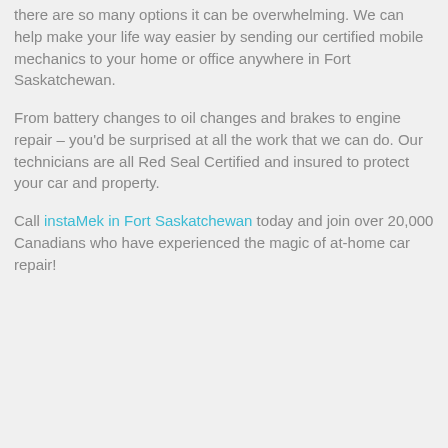there are so many options it can be overwhelming. We can help make your life way easier by sending our certified mobile mechanics to your home or office anywhere in Fort Saskatchewan.
From battery changes to oil changes and brakes to engine repair – you'd be surprised at all the work that we can do. Our technicians are all Red Seal Certified and insured to protect your car and property.
Call instaMek in Fort Saskatchewan today and join over 20,000 Canadians who have experienced the magic of at-home car repair!